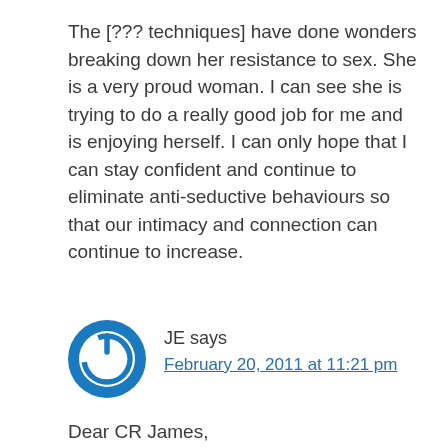The [??? techniques] have done wonders breaking down her resistance to sex. She is a very proud woman. I can see she is trying to do a really good job for me and is enjoying herself. I can only hope that I can stay confident and continue to eliminate anti-seductive behaviours so that our intimacy and connection can continue to increase.
JE says
February 20, 2011 at 11:21 pm
Dear CR James,
I dearly value your new books.